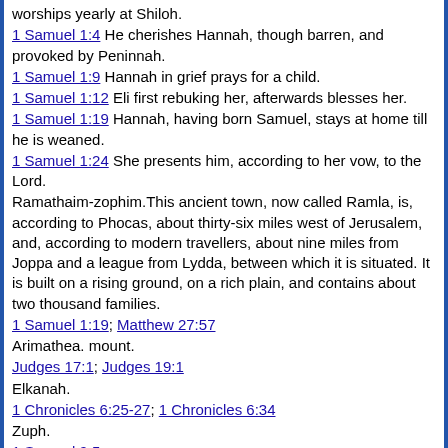worships yearly at Shiloh.
1 Samuel 1:4 He cherishes Hannah, though barren, and provoked by Peninnah.
1 Samuel 1:9 Hannah in grief prays for a child.
1 Samuel 1:12 Eli first rebuking her, afterwards blesses her.
1 Samuel 1:19 Hannah, having born Samuel, stays at home till he is weaned.
1 Samuel 1:24 She presents him, according to her vow, to the Lord.
Ramathaim-zophim.This ancient town, now called Ramla, is, according to Phocas, about thirty-six miles west of Jerusalem, and, according to modern travellers, about nine miles from Joppa and a league from Lydda, between which it is situated. It is built on a rising ground, on a rich plain, and contains about two thousand families.
1 Samuel 1:19; Matthew 27:57
Arimathea. mount.
Judges 17:1; Judges 19:1
Elkanah.
1 Chronicles 6:25-27; 1 Chronicles 6:34
Zuph.
1 Samuel 9:5
Ephrathite.
1 Samuel 17:12; Judges 12:5; Ruth 1:2; 1 Kings 11:26